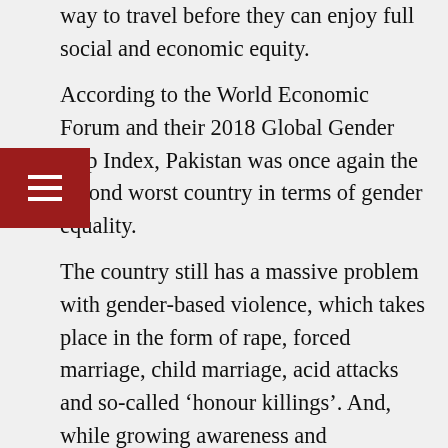way to travel before they can enjoy full social and economic equity.
According to the World Economic Forum and their 2018 Global Gender Gap Index, Pakistan was once again the second worst country in terms of gender equality.
The country still has a massive problem with gender-based violence, which takes place in the form of rape, forced marriage, child marriage, acid attacks and so-called ‘honour killings’. And, while growing awareness and sensitisation has led to an increase in reporting, the figures are still significantly under-reported.
In its latest annual report, titled State of Human Rights in 2018, the Human Rights Commission of